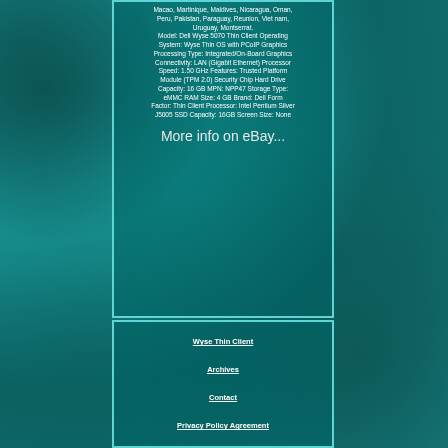Macao, Martinique, Maldives, Nicaragua, Oman, Peru, Pakistan, Paraguay, Reunion, Viet nam, Uruguay, Montserrat. Model: Dell Wyse 5070 Thin Client Operating System: Wyse Thin OS with PCoIP Graphics Processing Type: Integrated/On-Board Graphics Connectivity: LAN (Gigabit Ethernet) Processor Speed: 1.50 GHz Features: Trusted Platform Module (TPM 2.0) Security Chip Hard Drive Capacity: 16 GB MPN: NPP47 Storage Type: eMMC RAM Size: 4 GB Brand: Dell Form Factor: Thin Client Processor: Intel Pentium Silver J5005 SSD Capacity: 16GB Screen Size: None
More info on eBay...
Wyse Thin Client
Archives
Contact
Privacy Policy Agreement